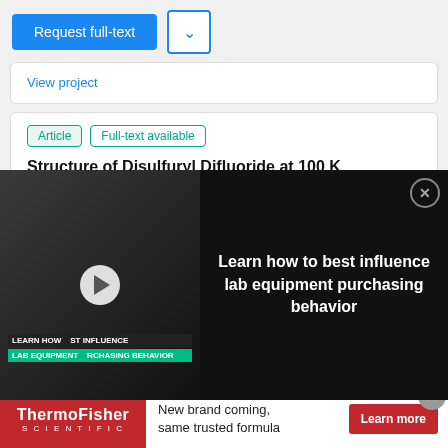Request full-text
View project
Article  Full-text available
Structure of Disulfuryl Difluoride at 100 K
January 1993 · Acta Crystallographica Section C Crystal Structure Communications
[Figure (screenshot): Video advertisement thumbnail showing lab equipment with text 'LEARN HOW TO BEST INFLUENCE LAB EQUIPMENT PURCHASING BEHAVIOR' overlaid in green and dark background]
Learn how to best influence lab equipment purchasing behavior
Principal bond lengths and angles are: S-O 1.6108 (11); S=O 1.3947 (20), 1.4021 ... [Show full abstract]
Advertisement
ThermoFisher SCIENTIFIC  New brand coming, same trusted formula  Learn more